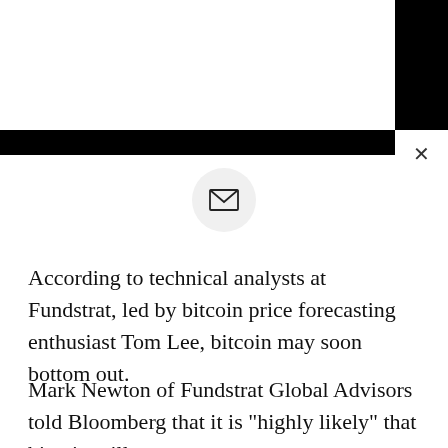[Figure (screenshot): Black header bar with white overlay and a close (×) button in top right corner, and an email envelope icon in a light gray circle below the header]
According to technical analysts at Fundstrat, led by bitcoin price forecasting enthusiast Tom Lee, bitcoin may soon bottom out.
Mark Newton of Fundstrat Global Advisors told Bloomberg that it is "highly likely" that bitcoin will